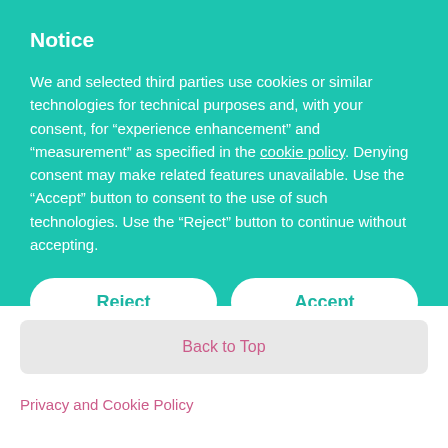Notice
We and selected third parties use cookies or similar technologies for technical purposes and, with your consent, for “experience enhancement” and “measurement” as specified in the cookie policy. Denying consent may make related features unavailable. Use the “Accept” button to consent to the use of such technologies. Use the “Reject” button to continue without accepting.
Reject
Accept
Learn more
Back to Top
Privacy and Cookie Policy